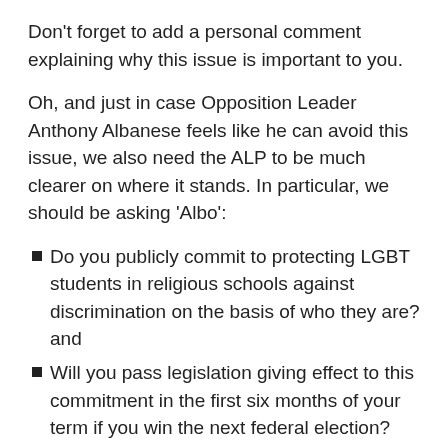Don't forget to add a personal comment explaining why this issue is important to you.
Oh, and just in case Opposition Leader Anthony Albanese feels like he can avoid this issue, we also need the ALP to be much clearer on where it stands. In particular, we should be asking 'Albo':
Do you publicly commit to protecting LGBT students in religious schools against discrimination on the basis of who they are? and
Will you pass legislation giving effect to this commitment in the first six months of your term if you win the next federal election?
Anthony Albanese's contact details include:
Twitter: https://twitter.com/AlboMP